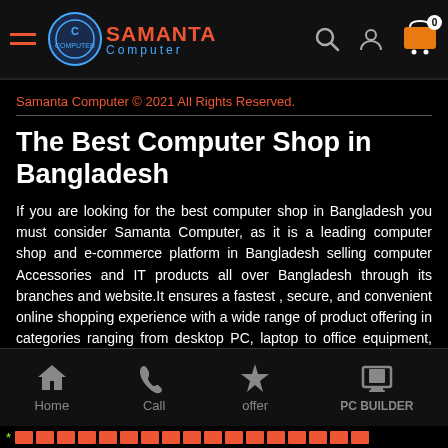Samanta Computer - navigation bar with logo, search, user, and cart icons
Samanta Computer © 2021 All Rights Reserved.
The Best Computer Shop in Bangladesh
If you are looking for the best computer shop in Bangladesh you must consider Samanta Computer, as it is a leading computer shop and e-commerce platform in Bangladesh selling computer Accessories and IT products all over Bangladesh through its branches and website.It ensures a fastest , secure, and convenient online shopping experience with a wide range of product offering in categories ranging from desktop PC, laptop to office equipment, Processor, RAM, camera, and smart devices etc.Samanta Computer is always try to give best offer to its customers with best possible facility – including surprise Coupon, multiple payment options,EMI Facility, best price, cash on delivery in 64 districts and also free home delivery inside Dhaka , 24/7 online support, and extensive
Home | Call | offer | PC BUILDER